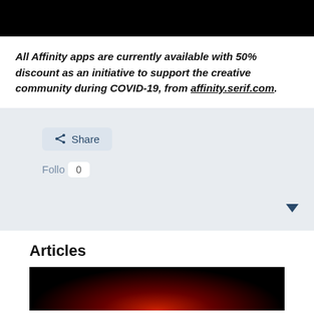[Figure (photo): Black bar image at top of page]
All Affinity apps are currently available with 50% discount as an initiative to support the creative community during COVID-19, from affinity.serif.com.
[Figure (screenshot): Light gray social sharing section with Share button, Follow button with count 0, and a dropdown arrow]
Articles
[Figure (photo): Dark article thumbnail image with red glow at bottom]